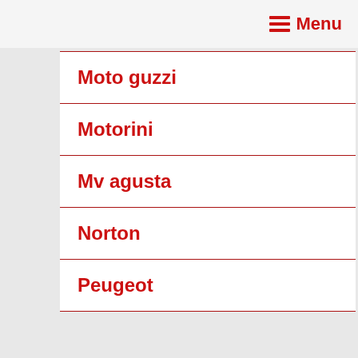Menu
Moto guzzi
Motorini
Mv agusta
Norton
Peugeot